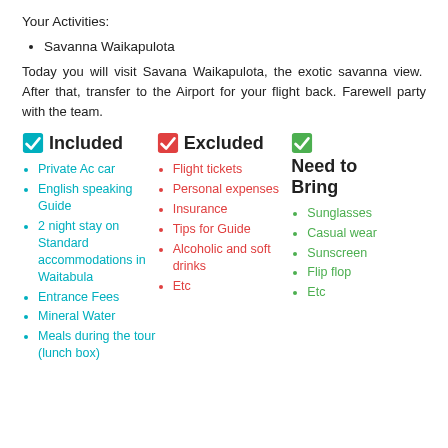Your Activities:
Savanna Waikapulota
Today you will visit Savana Waikapulota, the exotic savanna view. After that, transfer to the Airport for your flight back. Farewell party with the team.
Included
Private Ac car
English speaking Guide
2 night stay on Standard accommodations in Waitabula
Entrance Fees
Mineral Water
Meals during the tour (lunch box)
Excluded
Flight tickets
Personal expenses
Insurance
Tips for Guide
Alcoholic and soft drinks
Etc
Need to Bring
Sunglasses
Casual wear
Sunscreen
Flip flop
Etc